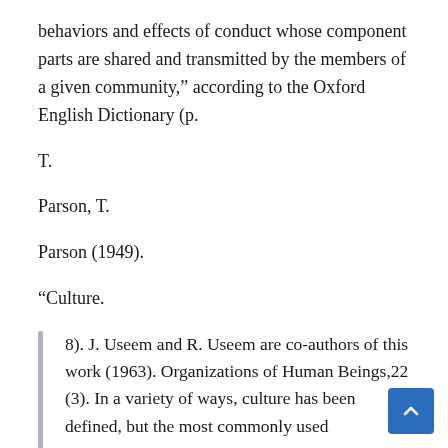behaviors and effects of conduct whose component parts are shared and transmitted by the members of a given community,” according to the Oxford English Dictionary (p.
T.
Parson, T.
Parson (1949).
“Culture.
8). J. Useem and R. Useem are co-authors of this work (1963). Organizations of Human Beings,22 (3). In a variety of ways, culture has been defined, but the most commonly used